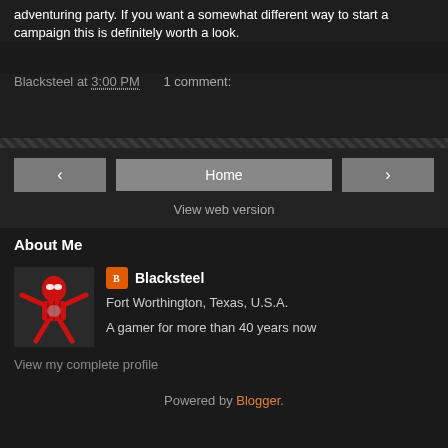adventuring party. If you want a somewhat different way to start a campaign this is definitely worth a look.
Blacksteel at 3:00 PM   1 comment:
Home
View web version
About Me
Blacksteel
Fort Worthington, Texas, U.S.A.
A gamer for more than 40 years now
View my complete profile
Powered by Blogger.